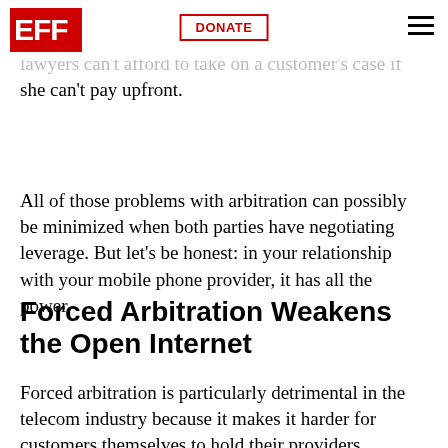EFF | DONATE
likely to be small (with an equally small percentage coming to the lawyer who represented her), most lawyers can't afford to take on a customer's case if she can't pay upfront.
All of those problems with arbitration can possibly be minimized when both parties have negotiating leverage. But let's be honest: in your relationship with your mobile phone provider, it has all the power.
Forced Arbitration Weakens the Open Internet
Forced arbitration is particularly detrimental in the telecom industry because it makes it harder for customers themselves to hold their providers accountable for any number of things.